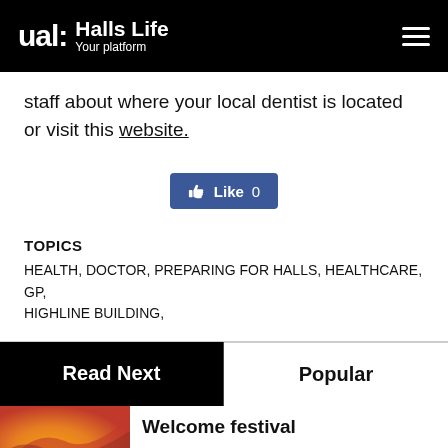ual: Halls Life Your platform
staff about where your local dentist is located or visit this website.
[Figure (other): Facebook Like button showing thumb icon and Like 0]
TOPICS
HEALTH, DOCTOR, PREPARING FOR HALLS, HEALTHCARE, GP, HIGHLINE BUILDING,
Read Next   Popular
Welcome festival